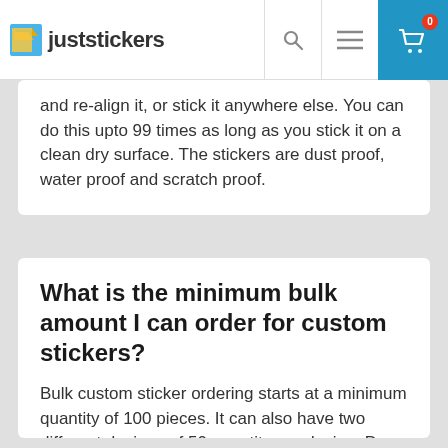juststickers
and re-align it, or stick it anywhere else. You can do this upto 99 times as long as you stick it on a clean dry surface. The stickers are dust proof, water proof and scratch proof.
What is the minimum bulk amount I can order for custom stickers?
Bulk custom sticker ordering starts at a minimum quantity of 100 pieces. It can also have two different designs of 50 quantity per design. Drop us a mail at hello@juststickers.in with your custom requirements.